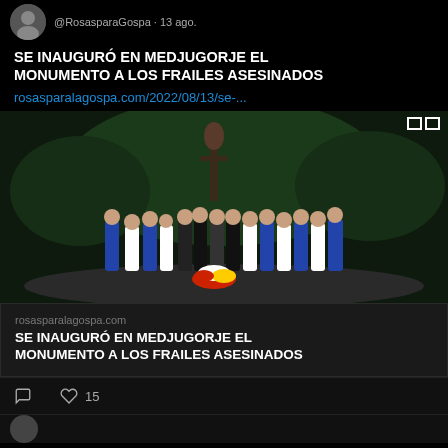@RosasparaGospa · 13 ago.
SE INAUGURÓ EN MEDJUGORJE EL MONUMENTO A LOS FRAILES ASESINADOS
rosasparalagospa.com/2022/08/13/se-...
[Figure (photo): Group of people in traditional folk costumes standing in front of a religious monument/statue at night, with flower arrangement in front]
rosasparalagospa.com
SE INAUGURÓ EN MEDJUGORJE EL MONUMENTO A LOS FRAILES ASESINADOS
15 likes